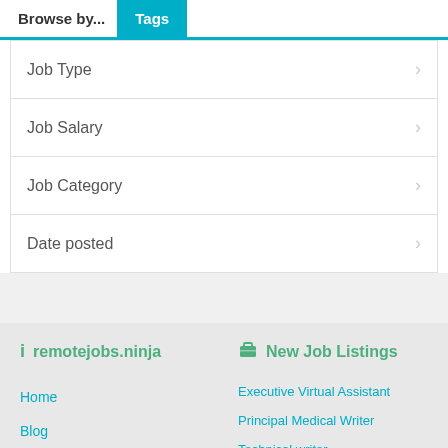Browse by... Tags
Job Type
Job Salary
Job Category
Date posted
remotejobs.ninja
New Job Listings
Home
Blog
Post a Job
Contact
Executive Virtual Assistant
Principal Medical Writer
Technical writer
Junior Copywriter
Brand Marketing Specialist